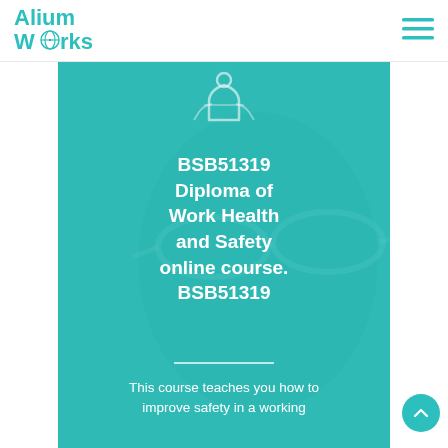[Figure (logo): Alium Works logo with teal globe icon]
[Figure (illustration): Hamburger/menu icon in teal]
[Figure (photo): Hero banner with teal overlay showing a person wearing safety glasses. Contains an icon at the top and large white bold text.]
BSB51319 Diploma of Work Health and Safety online course. BSB51319
This course teaches you how to improve safety in a working